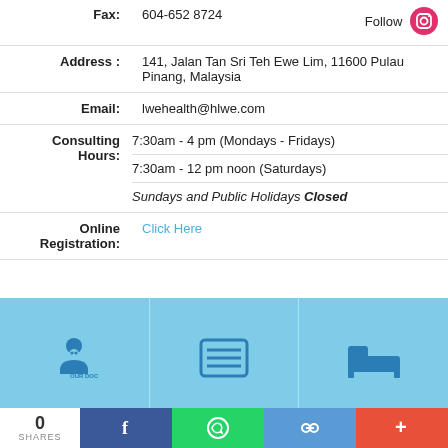| Fax: | 604-652 8724 | Follow |
| Address : | 141, Jalan Tan Sri Teh Ewe Lim, 11600 Pulau Pinang, Malaysia |  |
| Email: | lwehealth@hlwe.com |  |
| Consulting Hours: | 7:30am - 4 pm (Mondays - Fridays)
7:30am - 12 pm noon (Saturdays)
Sundays and Public Holidays Closed |  |
| Online Registration: | Click Here |  |
[Figure (infographic): Bottom navigation icon bar with three sections: OUR DOCTOR (doctor icon), FACILITIES (list/menu icon), ACCOMMODATION (bed icon), on a light blue background]
[Figure (infographic): Social share bar with share count 0 SHARES, Facebook button (blue), WhatsApp button (green), link/copy button (blue), more button (red/orange)]